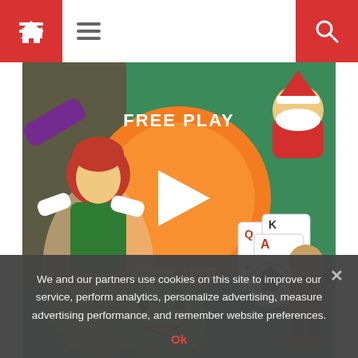Home / Menu / Search navigation bar
[Figure (illustration): Colorful game banner with anime-style characters, a green monster, cartoon soccer ball, playing cards, a Santa Claus character, a child character in soccer uniform, and a large orange circle badge reading FREE PLAY ONLINE with a play button triangle.]
Like last season, there will be three preseason games to help inform decisions about which undrafted free agents might be worth keeping, which veterans are on the decline and which positions need the most
We and our partners use cookies on this site to improve our service, perform analytics, personalize advertising, measure advertising performance, and remember website preferences.
Ok